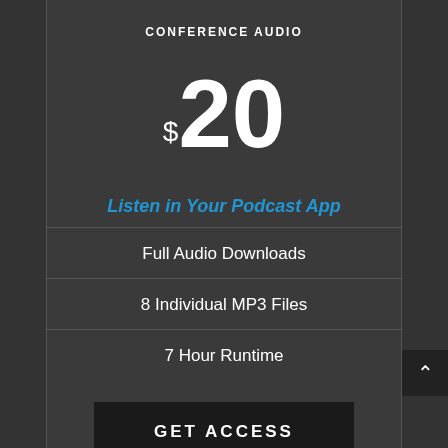CONFERENCE AUDIO
$20
Listen in Your Podcast App
Full Audio Downloads
8 Individual MP3 Files
7 Hour Runtime
Get Access